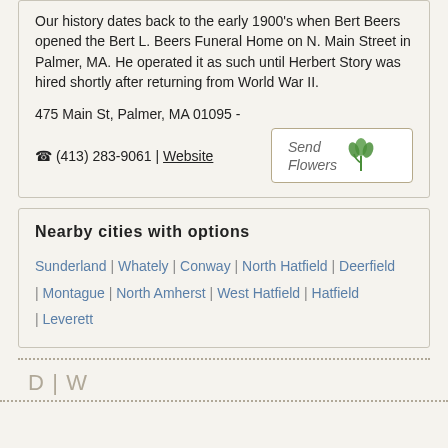Our history dates back to the early 1900's when Bert Beers opened the Bert L. Beers Funeral Home on N. Main Street in Palmer, MA. He operated it as such until Herbert Story was hired shortly after returning from World War II.
475 Main St, Palmer, MA 01095 -
☎ (413) 283-9061 | Website
[Figure (other): Send Flowers button with tulip icon]
Nearby cities with options
Sunderland | Whately | Conway | North Hatfield | Deerfield | Montague | North Amherst | West Hatfield | Hatfield | Leverett
D | W